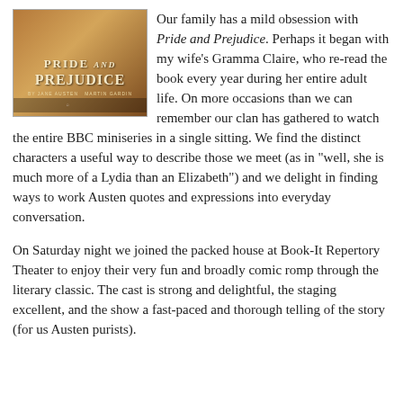[Figure (photo): Book cover for Pride and Prejudice by Jane Austen, showing a theatrical/dramatic edition with ornate styling]
Our family has a mild obsession with Pride and Prejudice. Perhaps it began with my wife's Gramma Claire, who re-read the book every year during her entire adult life. On more occasions than we can remember our clan has gathered to watch the entire BBC miniseries in a single sitting. We find the distinct characters a useful way to describe those we meet (as in "well, she is much more of a Lydia than an Elizabeth") and we delight in finding ways to work Austen quotes and expressions into everyday conversation.
On Saturday night we joined the packed house at Book-It Repertory Theater to enjoy their very fun and broadly comic romp through the literary classic. The cast is strong and delightful, the staging excellent, and the show a fast-paced and thorough telling of the story (for us Austen purists).